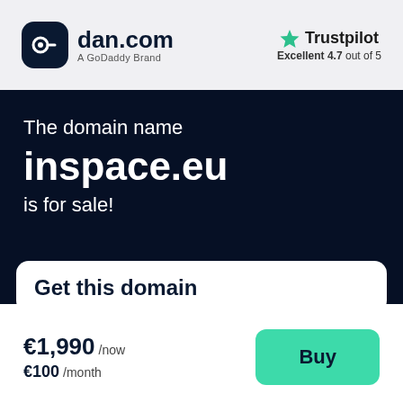[Figure (logo): dan.com logo with dark rounded square icon and text 'dan.com' with subtitle 'A GoDaddy Brand']
[Figure (logo): Trustpilot logo with green star and text 'Trustpilot', subtitle 'Excellent 4.7 out of 5']
The domain name
inspace.eu
is for sale!
Get this domain
€1,990 /now
€100 /month
Buy